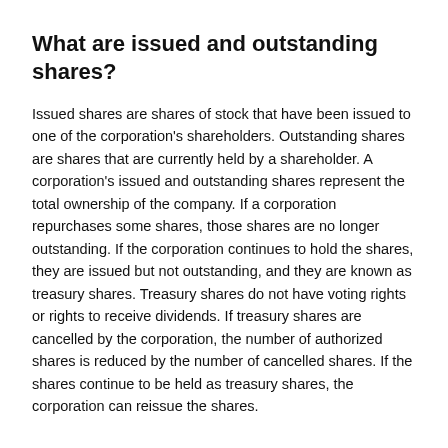What are issued and outstanding shares?
Issued shares are shares of stock that have been issued to one of the corporation's shareholders. Outstanding shares are shares that are currently held by a shareholder. A corporation's issued and outstanding shares represent the total ownership of the company. If a corporation repurchases some shares, those shares are no longer outstanding. If the corporation continues to hold the shares, they are issued but not outstanding, and they are known as treasury shares. Treasury shares do not have voting rights or rights to receive dividends. If treasury shares are cancelled by the corporation, the number of authorized shares is reduced by the number of cancelled shares. If the shares continue to be held as treasury shares, the corporation can reissue the shares.